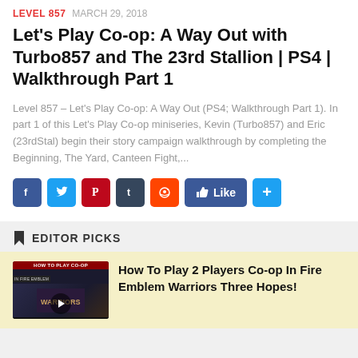LEVEL 857  MARCH 29, 2018
Let's Play Co-op: A Way Out with Turbo857 and The 23rd Stallion | PS4 | Walkthrough Part 1
Level 857 – Let's Play Co-op: A Way Out (PS4; Walkthrough Part 1). In part 1 of this Let's Play Co-op miniseries, Kevin (Turbo857) and Eric (23rdStal) begin their story campaign walkthrough by completing the Beginning, The Yard, Canteen Fight,...
[Figure (infographic): Social share buttons: Facebook, Twitter, Pinterest, Tumblr, Reddit, Like button, Plus button]
EDITOR PICKS
[Figure (screenshot): Thumbnail for How To Play Co-op In Fire Emblem Warriors video]
How To Play 2 Players Co-op In Fire Emblem Warriors Three Hopes!